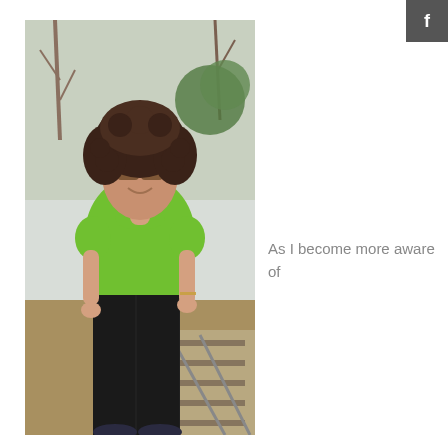[Figure (photo): Woman with curly dark hair wearing a bright green short-sleeve top and black wide-leg pants, standing outdoors near railroad tracks with bare trees and greenery in the background, smiling at the camera.]
As I become more aware of